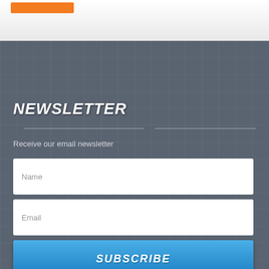[Figure (screenshot): Orange bar element in white/light grey top header area]
NEWSLETTER
Receive our email newsletter
Name
Email
SUBSCRIBE
TESTIMONIALS